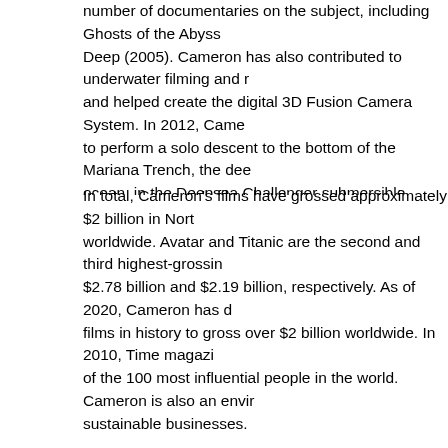number of documentaries on the subject, including Ghosts of the Abyss and Aliens of the Deep (2005). Cameron has also contributed to underwater filming and robotics technology and helped create the digital 3D Fusion Camera System. In 2012, Cameron became the first to perform a solo descent to the bottom of the Mariana Trench, the deepest point in the ocean, in the Deepsea Challenger submersible.
In total, Cameron's films have grossed approximately $2 billion in North America and $6 billion worldwide. Avatar and Titanic are the second and third highest-grossing films of all time with $2.78 billion and $2.19 billion, respectively. As of 2020, Cameron has directed two of the three films in history to gross over $2 billion worldwide. In 2010, Time magazine named him as one of the 100 most influential people in the world. Cameron is also an environmentalist who runs sustainable businesses.
James Cameron was born on August 16, 1954 in Kapuskasing, Ontario. His father was Phillip Cameron, an electrical engineer, and Shirley (née Lowe), an artist and nurse. Cameron's great-great-grandfather emigrated from Balquhidder, Scotland, in 1825.[3] Cameron was one of five siblings. As a child he described the Lord's Prayer as a "tribal chant". He attended Stamford Collegiate in Niagara Falls. At age 17, Cameron and his family moved from Canada to Brea, California.[5] He attended Sonora High School and then moved to Brea for his senior year. Classmates recalled that he was not a sportsman but instead enjoyed books about "things that went up into the air or into the deep".[3]